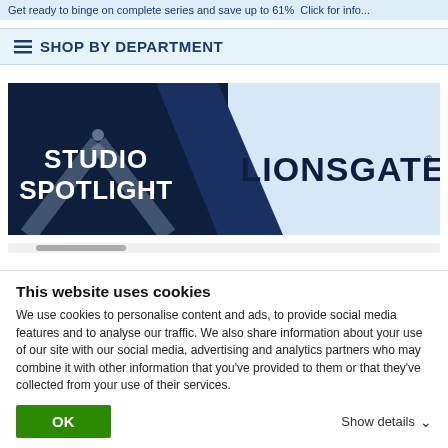Get ready to binge on complete series and save up to 61%  Click for info...
≡ SHOP BY DEPARTMENT
[Figure (logo): Studio Spotlight Lionsgate promotional banner. Left half has dark navy background with 'STUDIO SPOTLIGHT' in white bold text and an X spotlight graphic. Right half has light blue background with 'LIONSGATE' in large dark navy bold text with trademark symbol.]
This website uses cookies
We use cookies to personalise content and ads, to provide social media features and to analyse our traffic. We also share information about your use of our site with our social media, advertising and analytics partners who may combine it with other information that you've provided to them or that they've collected from your use of their services.
OK
Show details ∨